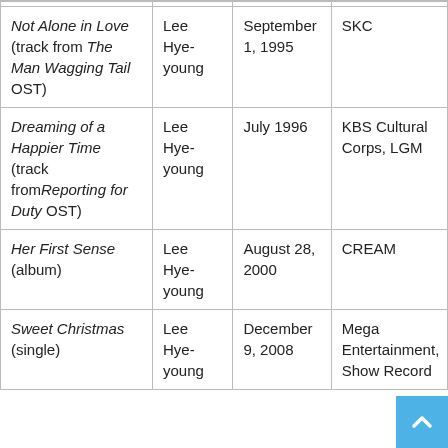| Title | Artist | Release Date | Label |
| --- | --- | --- | --- |
| Not Alone in Love (track from The Man Wagging Tail OST) | Lee Hye-young | September 1, 1995 | SKC |
| Dreaming of a Happier Time (track from Reporting for Duty OST) | Lee Hye-young | July 1996 | KBS Cultural Corps, LGM |
| Her First Sense (album) | Lee Hye-young | August 28, 2000 | CREAM |
| Sweet Christmas (single) | Lee Hye-young | December 9, 2008 | Mega Entertainment, Show Record |